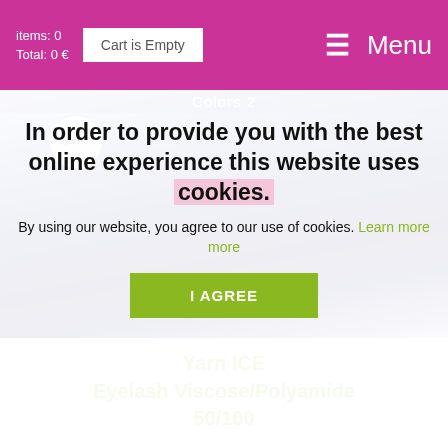items: 0
Total: 0 €   Cart is Empty   Menu
[Figure (photo): Ball of navy blue eyelash yarn with a brand label circle visible, showing 'yarns'. Text 'Colors 2' appears at top.]
Yarn ICE Eyelash Viscose/Polyamide 50/100
In order to provide you with the best online experience this website uses cookies.
By using our website, you agree to our use of cookies. Learn more
I AGREE